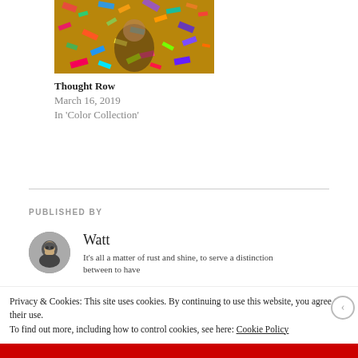[Figure (photo): Colorful confetti/streamers photo, vibrant multi-colored festive scene with a person visible]
Thought Row
March 16, 2019
In 'Color Collection'
PUBLISHED BY
[Figure (photo): Circular avatar portrait of author Watt, black and white photo]
Watt
It's all a matter of rust and shine, to serve a distinction between to have
Privacy & Cookies: This site uses cookies. By continuing to use this website, you agree to their use.
To find out more, including how to control cookies, see here: Cookie Policy
Close and accept